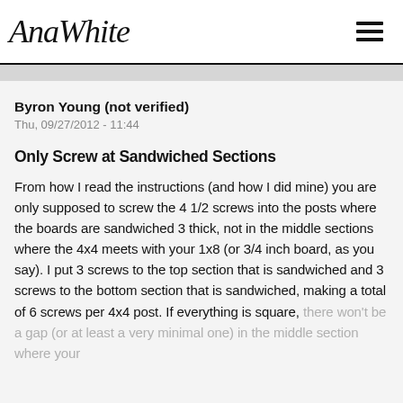AnaWhite
Byron Young (not verified)
Thu, 09/27/2012 - 11:44
Only Screw at Sandwiched Sections
From how I read the instructions (and how I did mine) you are only supposed to screw the 4 1/2 screws into the posts where the boards are sandwiched 3 thick, not in the middle sections where the 4x4 meets with your 1x8 (or 3/4 inch board, as you say). I put 3 screws to the top section that is sandwiched and 3 screws to the bottom section that is sandwiched, making a total of 6 screws per 4x4 post. If everything is square, there won't be a gap (or at least a very minimal one) in the middle section where your